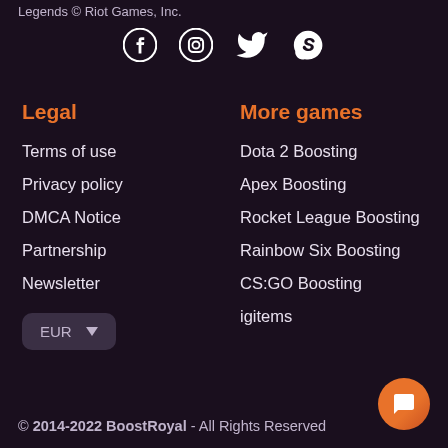Legends © Riot Games, Inc.
[Figure (illustration): Social media icons row: Facebook, Instagram, Twitter, Skype — white icons on dark background]
Legal
Terms of use
Privacy policy
DMCA Notice
Partnership
Newsletter
More games
Dota 2 Boosting
Apex Boosting
Rocket League Boosting
Rainbow Six Boosting
CS:GO Boosting
igitems
© 2014-2022 BoostRoyal - All Rights Reserved